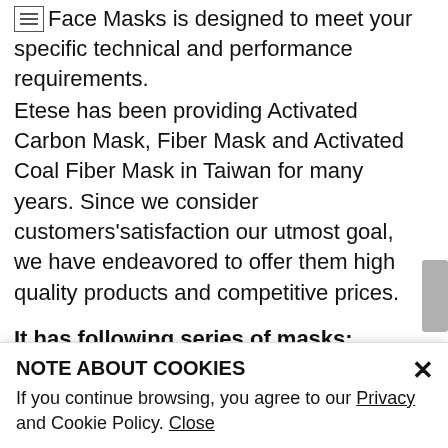Face Masks is designed to meet your specific technical and performance requirements.
Etese has been providing Activated Carbon Mask, Fiber Mask and Activated Coal Fiber Mask in Taiwan for many years. Since we consider customers'satisfaction our utmost goal, we have endeavored to offer them high quality products and competitive prices.
It has following series of masks:
1. A series of Plane Face Masks
2. A series of C Face Masks
3. A series of 3D Type Activated Carbon Face Masks
4. A series of 3D Type Activated Carbon Fiber Face Masks
5. A series of Cone Type Fiber Face Masks
NOTE ABOUT COOKIES
If you continue browsing, you agree to our Privacy and Cookie Policy. Close